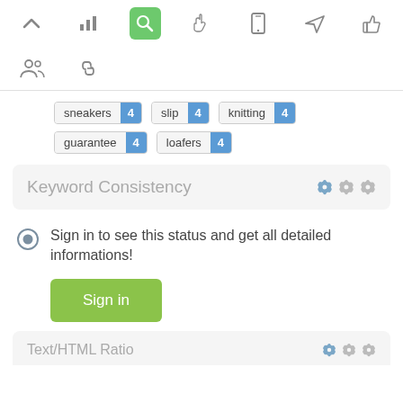[Figure (screenshot): Navigation toolbar with icons: up arrow, bar chart, search (active/highlighted green), pointer hand, mobile phone, paper plane, thumbs up]
[Figure (screenshot): Secondary navigation row with group/people icon and link/chain icon]
sneakers 4   slip 4   knitting 4
guarantee 4   loafers 4
Keyword Consistency
Sign in to see this status and get all detailed informations!
Sign in
Text/HTML Ratio